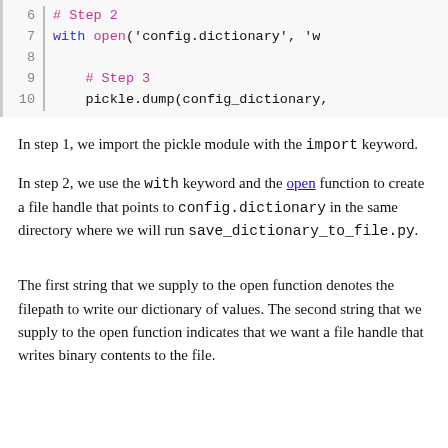[Figure (screenshot): Code block showing lines 6-10 of Python code with syntax highlighting. Line 6: # Step 2, Line 7: with open('config.dictionary', 'w..., Line 8: (blank), Line 9: # Step 3, Line 10: pickle.dump(config_dictionary, ...]
In step 1, we import the pickle module with the import keyword.
In step 2, we use the with keyword and the open function to create a file handle that points to config.dictionary in the same directory where we will run save_dictionary_to_file.py.
The first string that we supply to the open function denotes the filepath to write our dictionary of values. The second string that we supply to the open function indicates that we want a file handle that writes binary contents to the file.